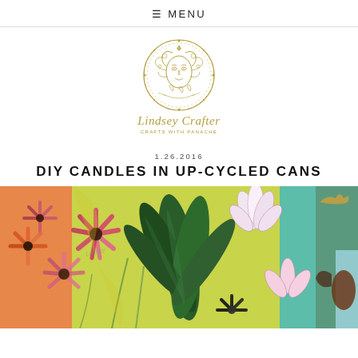≡ MENU
[Figure (logo): Lindsey Crafter logo: circular illustration of a woman's face with decorative floral/geometric border in gold/olive color, with cursive text 'Lindsey Crafter' and subtitle 'CRAFTS WITH PANACHE']
1.26.2016
DIY CANDLES IN UP-CYCLED CANS
[Figure (photo): Colorful floral painting featuring pink and red daisy-like flowers, large dark green succulent/aloe leaves in the center, white and pink tulip-like flowers, yellow background accents, and partial views of bird/animal illustrations on the right edge]